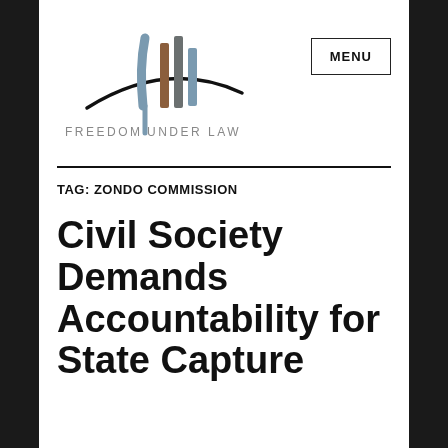[Figure (logo): Freedom Under Law logo with stylized vertical bars and swoosh above the text FREEDOM UNDER LAW]
MENU
TAG: ZONDO COMMISSION
Civil Society Demands Accountability for State Capture